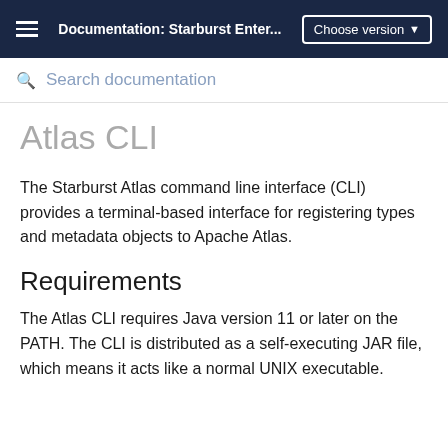Documentation: Starburst Enter... | Choose version
Search documentation
Atlas CLI
The Starburst Atlas command line interface (CLI) provides a terminal-based interface for registering types and metadata objects to Apache Atlas.
Requirements
The Atlas CLI requires Java version 11 or later on the PATH. The CLI is distributed as a self-executing JAR file, which means it acts like a normal UNIX executable.